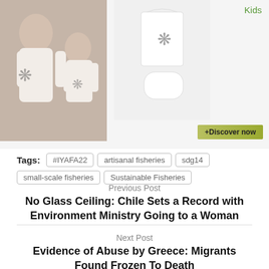[Figure (photo): Advertisement banner showing a woman and child wearing white printed clothing on the left, and a product shot of a white printed top and brief/underwear set on the right, with a 'Kids' label and '+Discover now' button.]
Tags: #IYAFA22  artisanal fisheries  sdg14  small-scale fisheries  Sustainable Fisheries
Previous Post
No Glass Ceiling: Chile Sets a Record with Environment Ministry Going to a Woman
Next Post
Evidence of Abuse by Greece: Migrants Found Frozen To Death